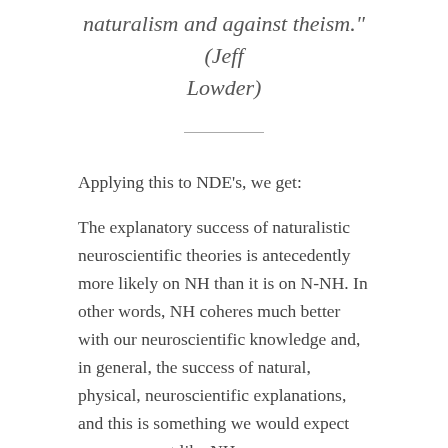naturalism and against theism." (Jeff Lowder)
Applying this to NDE’s, we get:
The explanatory success of naturalistic neuroscientific theories is antecedently more likely on NH than it is on N-NH. In other words, NH coheres much better with our neuroscientific knowledge and, in general, the success of natural, physical, neuroscientific explanations, and this is something we would expect on an account like NH...